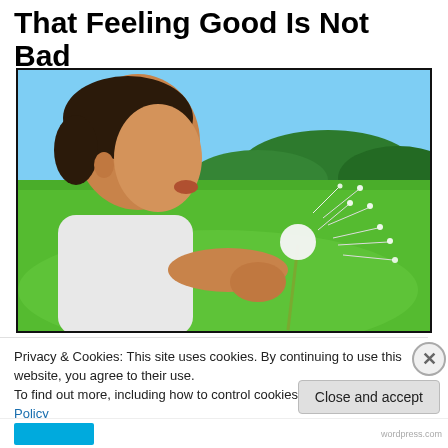That Feeling Good Is Not Bad
[Figure (photo): A young girl blowing dandelion seeds in a green meadow with a blue sky background]
Privacy & Cookies: This site uses cookies. By continuing to use this website, you agree to their use.
To find out more, including how to control cookies, see here: Cookie Policy